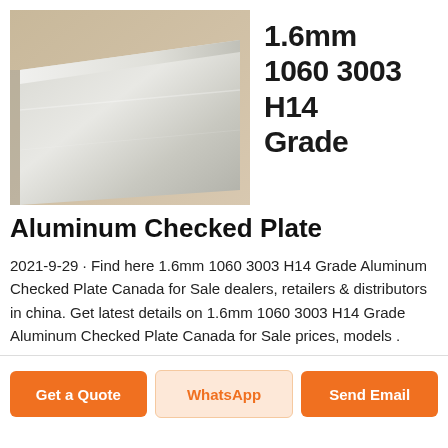[Figure (photo): Close-up photo of a flat metallic aluminum plate with smooth silver surface, angled view against a light background.]
1.6mm 1060 3003 H14 Grade
Aluminum Checked Plate
2021-9-29 · Find here 1.6mm 1060 3003 H14 Grade Aluminum Checked Plate Canada for Sale dealers, retailers & distributors in china. Get latest details on 1.6mm 1060 3003 H14 Grade Aluminum Checked Plate Canada for Sale prices, models .
Get a Quote
WhatsApp
Send Email